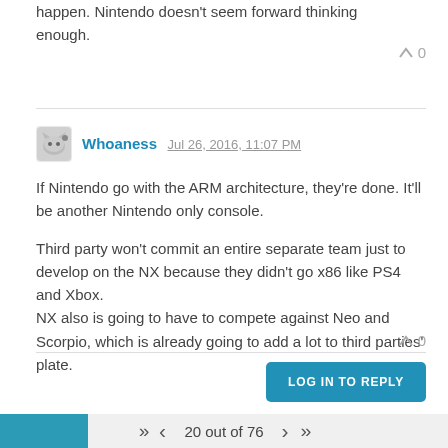happen. Nintendo doesn't seem forward thinking enough.
0
Whoaness Jul 26, 2016, 11:07 PM
If Nintendo go with the ARM architecture, they're done. It'll be another Nintendo only console.

Third party won't commit an entire separate team just to develop on the NX because they didn't go x86 like PS4 and Xbox.
NX also is going to have to compete against Neo and Scorpio, which is already going to add a lot to third parties' plate.
0
LOG IN TO REPLY
20 out of 76